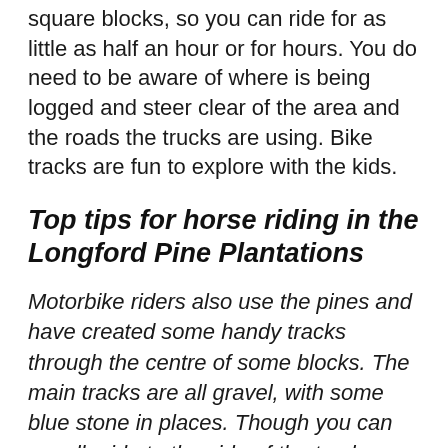square blocks, so you can ride for as little as half an hour or for hours. You do need to be aware of where is being logged and steer clear of the area and the roads the trucks are using. Bike tracks are fun to explore with the kids.
Top tips for horse riding in the Longford Pine Plantations
Motorbike riders also use the pines and have created some handy tracks through the centre of some blocks. The main tracks are all gravel, with some blue stone in places. Though you can usually ride to the side of the track or find bike tracks and half block tracks which are usually